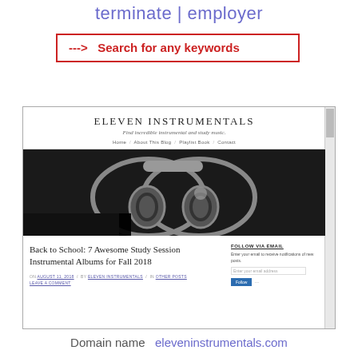terminate | employer
---> Search for any keywords
[Figure (screenshot): Screenshot of the Eleven Instrumentals blog website showing the site header, navigation links (Home, About This Blog, Playlist Book, Contact), a hero image with headphones, and a blog post titled 'Back to School: 7 Awesome Study Session Instrumental Albums for Fall 2018'. The right sidebar shows a 'Follow Via Email' section with an email input field and follow button. The post meta shows 'ON AUGUST 11, 2018 / BY ELEVEN INSTRUMENTALS / IN OTHER POSTS / LEAVE A COMMENT'.]
Domain name   eleveninstrumentals.com